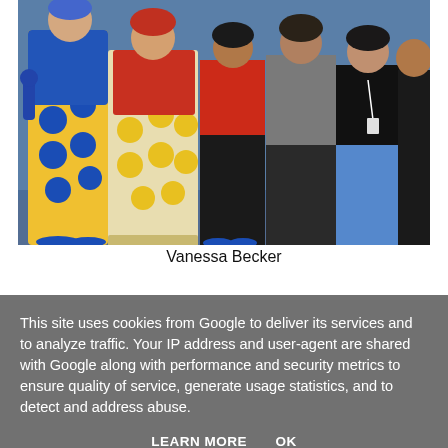[Figure (photo): Group photo of several people in colorful costumes at what appears to be a convention or event. People are wearing yellow, blue, and red outfits with polka dot patterns. Background is blue.]
Vanessa Becker
This site uses cookies from Google to deliver its services and to analyze traffic. Your IP address and user-agent are shared with Google along with performance and security metrics to ensure quality of service, generate usage statistics, and to detect and address abuse.
LEARN MORE    OK